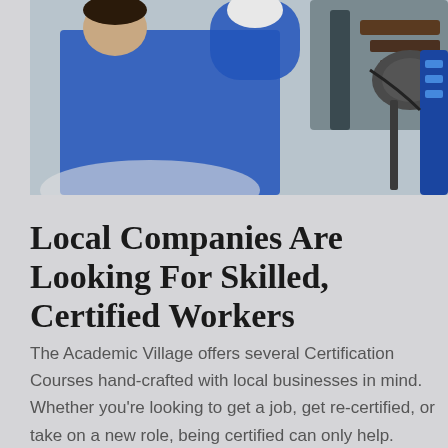[Figure (photo): A person in a blue uniform working on a vehicle undercarriage in a workshop, wearing white gloves, with mechanical equipment visible in the background.]
Local Companies Are Looking For Skilled, Certified Workers
The Academic Village offers several Certification Courses hand-crafted with local businesses in mind. Whether you’re looking to get a job, get re-certified, or take on a new role, being certified can only help.